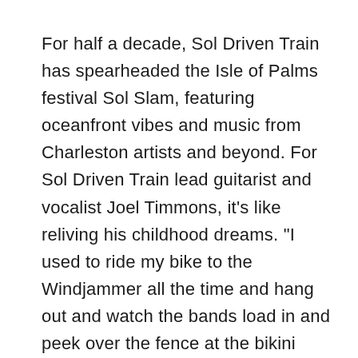For half a decade, Sol Driven Train has spearheaded the Isle of Palms festival Sol Slam, featuring oceanfront vibes and music from Charleston artists and beyond. For Sol Driven Train lead guitarist and vocalist Joel Timmons, it’s like reliving his childhood dreams. “I used to ride my bike to the Windjammer all the time and hang out and watch the bands load in and peek over the fence at the bikini contest,” he says. This year, the two-day fest kicks off on Friday with Sol Driven Train and continues on Saturday with African drum and dance group WoSe, Tennessee trio Sunflowers & Sin, Southern funkadelics the Marcus King Band, soul rockers Gaslight Street,